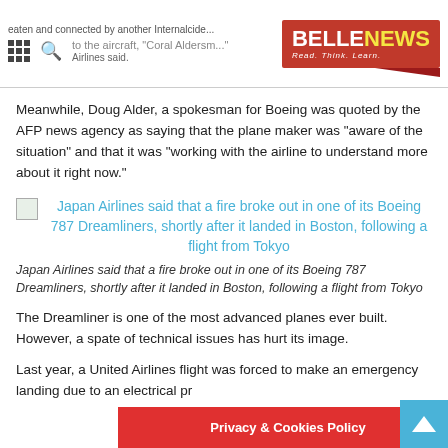BELLENEWS - Read. Think. Learn.
Meanwhile, Doug Alder, a spokesman for Boeing was quoted by the AFP news agency as saying that the plane maker was “aware of the situation” and that it was “working with the airline to understand more about it right now.”
[Figure (photo): Broken image placeholder with link text: Japan Airlines said that a fire broke out in one of its Boeing 787 Dreamliners, shortly after it landed in Boston, following a flight from Tokyo]
Japan Airlines said that a fire broke out in one of its Boeing 787 Dreamliners, shortly after it landed in Boston, following a flight from Tokyo
The Dreamliner is one of the most advanced planes ever built. However, a spate of technical issues has hurt its image.
Last year, a United Airlines flight was forced to make an emergency landing due to an electrical pr
Privacy & Cookies Policy